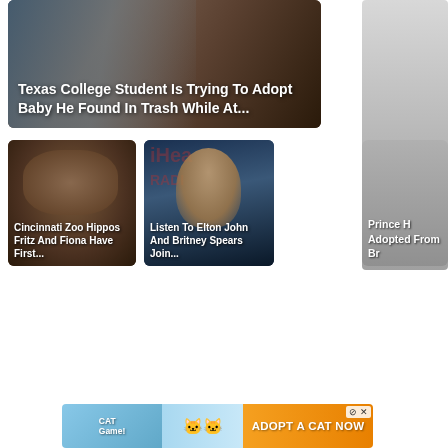[Figure (photo): News card: Texas College Student adult with baby photo, dark toned image]
Texas College Student Is Trying To Adopt Baby He Found In Trash While At...
[Figure (photo): Gray sidebar panel on right side of page]
[Figure (photo): News card: Cincinnati Zoo hippo with mouth open]
Cincinnati Zoo Hippos Fritz And Fiona Have First...
[Figure (photo): News card: Elton John wearing red sunglasses at microphone, iHeart radio background]
Listen To Elton John And Britney Spears Join...
[Figure (photo): Partial news card on right: gray background with partial headline about Prince]
Prince H Adopted From Br
[Figure (infographic): Cat Game advertisement banner: cartoon cats, Adopt A Cat Now call to action]